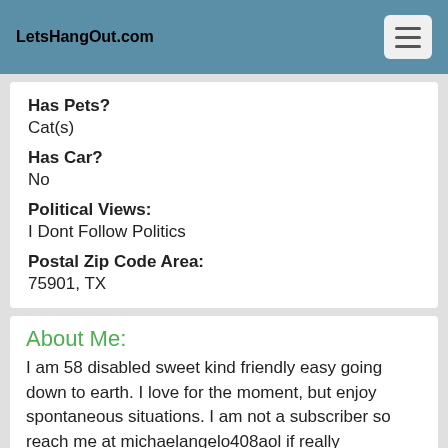LetsHangOut.com
Has Pets?
Cat(s)
Has Car?
No
Political Views:
I Dont Follow Politics
Postal Zip Code Area:
75901, TX
About Me:
I am 58 disabled sweet kind friendly easy going down to earth. I love for the moment, but enjoy spontaneous situations. I am not a subscriber so reach me at michaelangelo408aol if really interested. You won't be dissatisfied